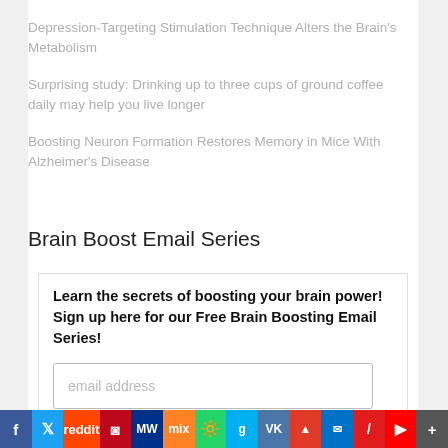Depression-Targeting Stimulation Technique Alters the Brain's Metabolism
Surprising study: Drinking up to three cups of ground coffee daily may help you live longer
Boosting Neuron Formation Restores Memory in Mice With Alzheimer's Disease
Brain Boost Email Series
Learn the secrets of boosting your brain power! Sign up here for our Free Brain Boosting Email Series!
email address
Subscribe